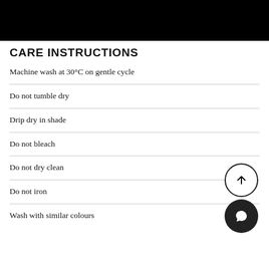CARE INSTRUCTIONS
Machine wash at 30°C on gentle cycle
Do not tumble dry
Drip dry in shade
Do not bleach
Do not dry clean
Do not iron
Wash with similar colours